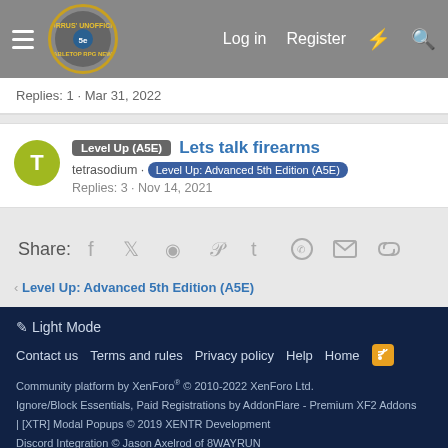Morrus' Unofficial Tabletop RPG News — Log in | Register
Replies: 1 · Mar 31, 2022
Level Up (A5E) — Lets talk firearms — tetrasodium · Level Up: Advanced 5th Edition (A5E) — Replies: 3 · Nov 14, 2021
Share: Facebook Twitter Reddit Pinterest Tumblr WhatsApp Email Link
< Level Up: Advanced 5th Edition (A5E)
Light Mode
Contact us   Terms and rules   Privacy policy   Help   Home
Community platform by XenForo® © 2010-2022 XenForo Ltd.
Ignore/Block Essentials, Paid Registrations by AddonFlare - Premium XF2 Addons
| [XTR] Modal Popups © 2019 XENTR Development
Discord Integration © Jason Axelrod of 8WAYRUN
XenCarta 2 PRO © Jason Axelrod of 8WAYRUN